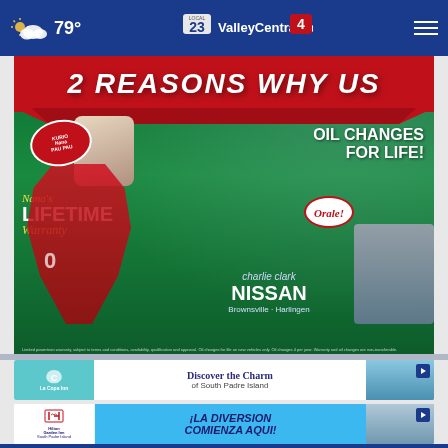79° ValleyCentral.com 23 4
[Figure (advertisement): Charlie Clark Nissan advertisement showing '2 REASONS WHY US' with Nana's Lifetime Warranty and Oil Changes For Life promotions. Features a football player in red uniform, a man in a suit (Charlie Clark), an elderly woman in a wheelchair with pom-poms, and stadium background. Brownsville - Harlingen.]
[Figure (advertisement): La Copa Inn advertisement: 'Discover the Charm of South Padre Island' with coastal imagery and close button.]
[Figure (advertisement): Hilton Garden Inn South Padre Island advertisement: 'iLA DiVERSiON COMiENZA AQUi!' with aerial hotel photo.]
ValleyCentral.com navigation bar